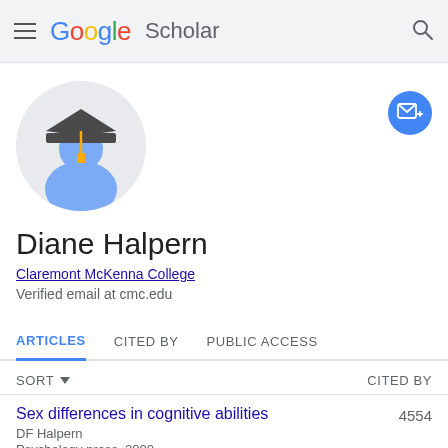Google Scholar
[Figure (illustration): Google Scholar profile avatar — generic graduation cap silhouette (blue body with dark cap and gold tassel) on a light grey circular background]
[Figure (other): Blue circular follow/email button with envelope and plus icon]
Diane Halpern
Claremont McKenna College
Verified email at cmc.edu
ARTICLES	CITED BY	PUBLIC ACCESS
SORT ▾	CITED BY
Sex differences in cognitive abilities
DF Halpern
Psychology press, 2000
4554